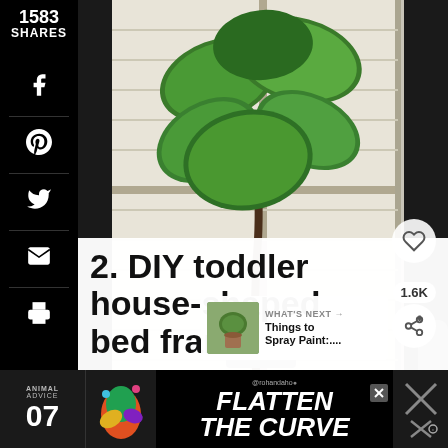[Figure (photo): A fiddle-leaf fig plant in a gray pot sitting by a large bright window with white blinds and dark curtains]
1583
SHARES
2. DIY toddler house-shaped bed frame
1.6K
WHAT'S NEXT → Things to Spray Paint:....
[Figure (photo): Thumbnail of plants in a pot for What's Next section]
[Figure (infographic): ANIMAL ADVICE 07 FLATTEN THE CURVE advertisement banner with @rohandaho handle]